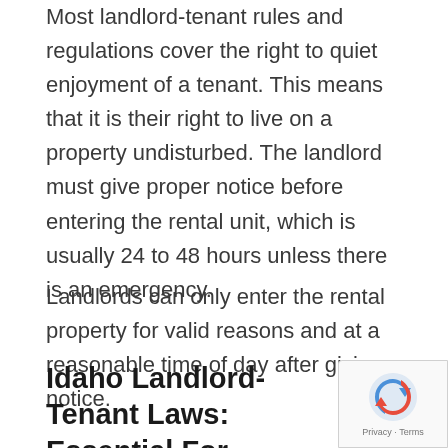Most landlord-tenant rules and regulations cover the right to quiet enjoyment of a tenant. This means that it is their right to live on a property undisturbed. The landlord must give proper notice before entering the rental unit, which is usually 24 to 48 hours unless there is an emergency.
Landlords can only enter the rental property for valid reasons and at a reasonable time of day after giving notice.
Idaho Landlord-Tenant Laws: Essential For Protecting Yourself Legally and Financially